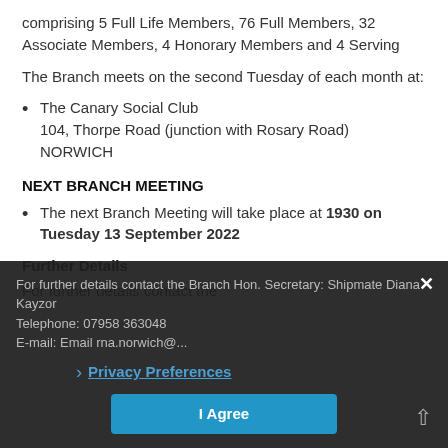comprising 5 Full Life Members, 76 Full Members, 32 Associate Members, 4 Honorary Members and 4 Serving
The Branch meets on the second Tuesday of each month at:
The Canary Social Club
104, Thorpe Road (junction with Rosary Road)
NORWICH
NEXT BRANCH MEETING
The next Branch Meeting will take place at 1930 on Tuesday 13 September 2022
Further Details
For further details contact the
For further details contact the Branch Hon. Secretary: Shipmate Diana Kayzor
Telephone: 07958 363048
E-mail: Email rna.norwich@...